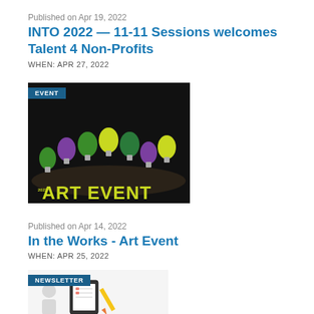Published on Apr 19, 2022
INTO 2022 — 11-11 Sessions welcomes Talent 4 Non-Profits
WHEN: APR 27, 2022
[Figure (photo): Dark background image with colorful light bulb sculptures labeled '2022 ART EVENT' with an EVENT badge overlay]
Published on Apr 14, 2022
In the Works - Art Event
WHEN: APR 25, 2022
[Figure (photo): Newsletter image with a pencil and checklist illustration with NEWSLETTER badge overlay]